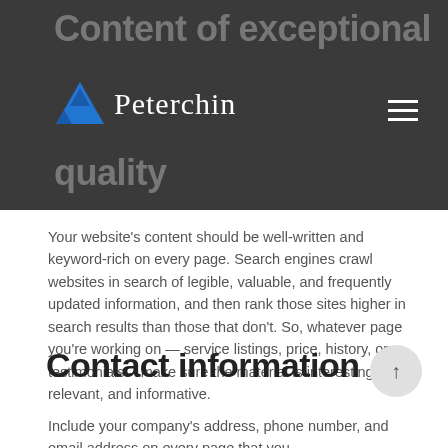Content of exceptional quality
[Figure (logo): Peterchin logo with blue triangle mountain icon and cursive white text]
Your website's content should be well-written and keyword-rich on every page. Search engines crawl websites in search of legible, valuable, and frequently updated information, and then rank those sites higher in search results than those that don't. So, whatever page you're working on — service listings, price, history, or testimonials – make sure the material is interesting, relevant, and informative.
Contact information
Include your company's address, phone number, and email address on every page that you...